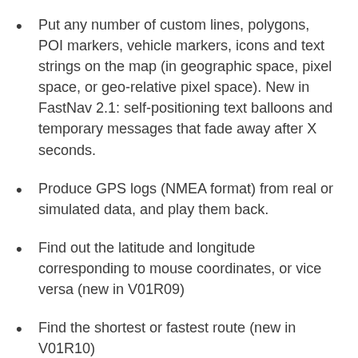Put any number of custom lines, polygons, POI markers, vehicle markers, icons and text strings on the map (in geographic space, pixel space, or geo-relative pixel space). New in FastNav 2.1: self-positioning text balloons and temporary messages that fade away after X seconds.
Produce GPS logs (NMEA format) from real or simulated data, and play them back.
Find out the latitude and longitude corresponding to mouse coordinates, or vice versa (new in V01R09)
Find the shortest or fastest route (new in V01R10)
Avoid or prohibit routing on ferries, toll roads, or other "undesirable attributes" if